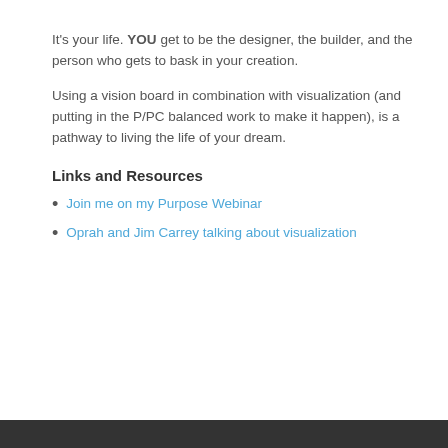It's your life. YOU get to be the designer, the builder, and the person who gets to bask in your creation.
Using a vision board in combination with visualization (and putting in the P/PC balanced work to make it happen), is a pathway to living the life of your dream.
Links and Resources
Join me on my Purpose Webinar
Oprah and Jim Carrey talking about visualization